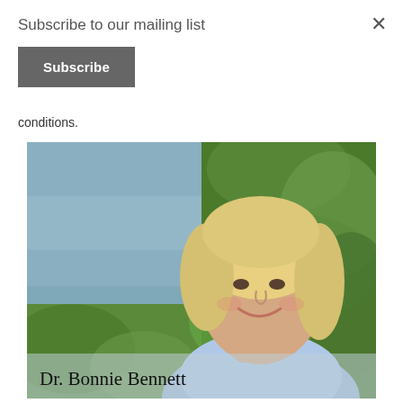Subscribe to our mailing list
Subscribe
conditions.
[Figure (photo): Outdoor photo of Dr. Bonnie Bennett, a woman with blonde hair wearing a blue wrap, smiling in front of green foliage and a blurred blue background.]
Dr. Bonnie Bennett